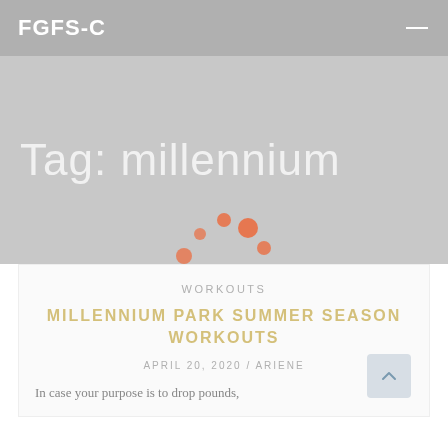FGFS-C
Tag: millennium
[Figure (other): Loading spinner made of orange/coral circles arranged in a circular pattern, varying in size]
WORKOUTS
MILLENNIUM PARK SUMMER SEASON WORKOUTS
APRIL 20, 2020 / ARIENE
In case your purpose is to drop pounds,